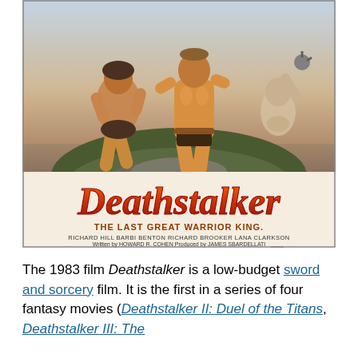[Figure (illustration): Movie poster for Deathstalker (1983). Shows two muscular barbarian warriors fighting on a rocky outcrop with a third figure in background. Large stylized orange/red text reads 'Deathstalker'. Below that: 'THE LAST GREAT WARRIOR KING.' Credits list: Richard Hill, Barbi Benton, Richard Brooker, Lana Clarkson. Written by Howard R. Cohen. Produced by James Sbardellati. Directed by John Watson. Rated R.]
The 1983 film Deathstalker is a low-budget sword and sorcery film. It is the first in a series of four fantasy movies (Deathstalker II: Duel of the Titans, Deathstalker III: The